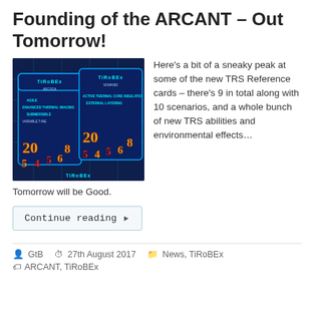Founding of the ARCANT – Out Tomorrow!
[Figure (photo): Photo of TiRoBEx reference cards showing game cards with thermal imaging and circuit board themed designs, displaying numbers and ability labels.]
Here's a bit of a sneaky peak at some of the new TRS Reference cards – there's 9 in total along with 10 scenarios, and a whole bunch of new TRS abilities and environmental effects… Tomorrow will be Good.
Continue reading ▶
GtB   27th August 2017   News, TiRoBEx
ARCANT, TiRoBEx